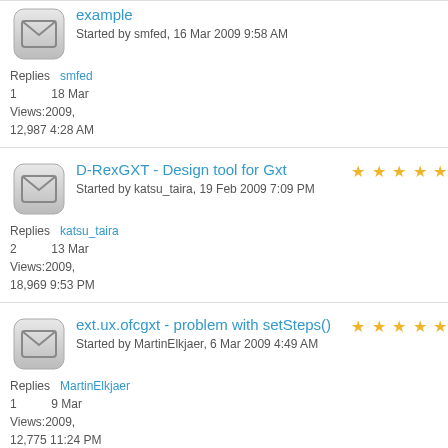example
Started by smfed, 16 Mar 2009 9:58 AM
Replies: 1  smfed  18 Mar
Views: 12,987  2009, 4:28 AM
D-RexGXT - Design tool for Gxt
Started by katsu_taira, 19 Feb 2009 7:09 PM
Replies: 2  katsu_taira  13 Mar
Views: 18,969  2009, 9:53 PM
ext.ux.ofcgxt - problem with setSteps()
Started by MartinElkjaer, 6 Mar 2009 4:49 AM
Replies: 1  MartinElkjaer  9 Mar
Views: 12,775  2009, 11:24 PM